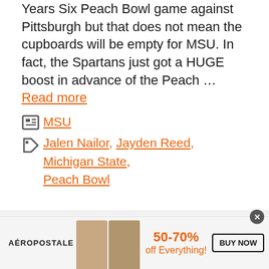Years Six Peach Bowl game against Pittsburgh but that does not mean the cupboards will be empty for MSU. In fact, the Spartans just got a HUGE boost in advance of the Peach … Read more
Categories: MSU
Tags: Jalen Nailor, Jayden Reed, Michigan State, Peach Bowl
Florida To Poach Member Of Michigan State Coaching Staff
[Figure (screenshot): Aeropostale advertisement banner showing two models and text '50-70% off Everything!' with a 'BUY NOW' button]